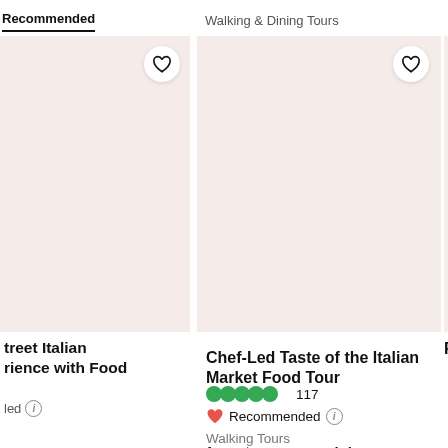Recommended  Walking & Dining Tours
[Figure (screenshot): Product card image placeholder — light pink/beige background for a street Italian experience food tour]
treet Italian rience with Food
led ⓘ
[Figure (screenshot): Product card image placeholder — light pink/beige background for Chef-Led Taste of the Italian Market Food Tour]
Chef-Led Taste of the Italian Market Food Tour
●●●●● 117
♥ Recommended ⓘ
Walking Tours
from $69.00 per adult
[Figure (screenshot): Partial product card — right edge cut off, showing Ph... title and partial green circles rating]